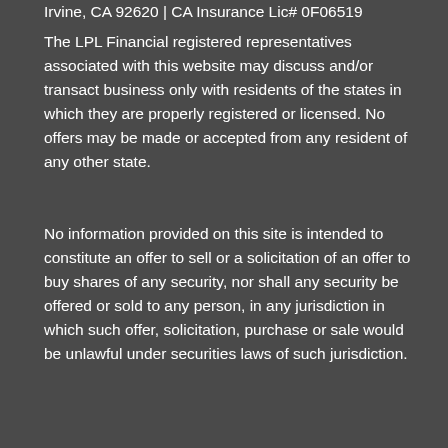Irvine, CA 92620 | CA Insurance Lic# 0F06519
The LPL Financial registered representatives associated with this website may discuss and/or transact business only with residents of the states in which they are properly registered or licensed. No offers may be made or accepted from any resident of any other state.
No information provided on this site is intended to constitute an offer to sell or a solicitation of an offer to buy shares of any security, nor shall any security be offered or sold to any person, in any jurisdiction in which such offer, solicitation, purchase or sale would be unlawful under securities laws of such jurisdiction.